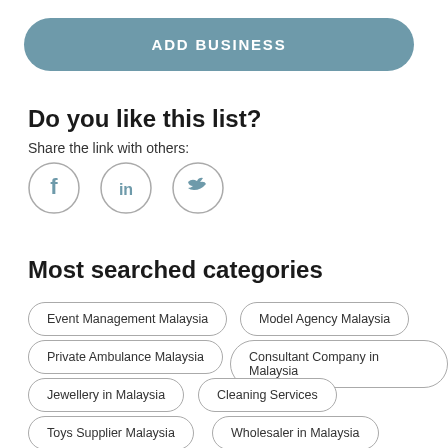ADD BUSINESS
Do you like this list?
Share the link with others:
[Figure (infographic): Social share icons for Facebook, LinkedIn, and Twitter in circular outlines]
Most searched categories
Event Management Malaysia
Model Agency Malaysia
Private Ambulance Malaysia
Consultant Company in Malaysia
Jewellery in Malaysia
Cleaning Services
Toys Supplier Malaysia
Wholesaler in Malaysia